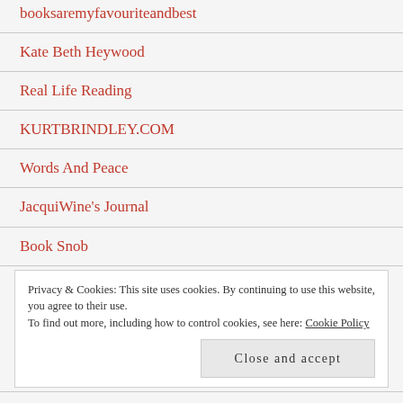booksaremyfavouriteandbest
Kate Beth Heywood
Real Life Reading
KURTBRINDLEY.COM
Words And Peace
JacquiWine's Journal
Book Snob
Privacy & Cookies: This site uses cookies. By continuing to use this website, you agree to their use.
To find out more, including how to control cookies, see here: Cookie Policy
Close and accept
Tales from the Reading Room